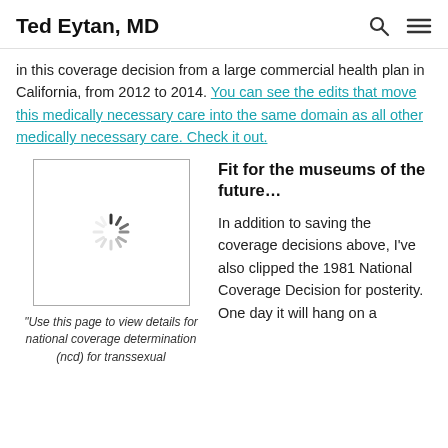Ted Eytan, MD
in this coverage decision from a large commercial health plan in California, from 2012 to 2014. You can see the edits that move this medically necessary care into the same domain as all other medically necessary care. Check it out.
[Figure (illustration): Loading spinner icon inside a rectangular bordered box, representing an image placeholder]
“Use this page to view details for national coverage determination (ncd) for transsexual
Fit for the museums of the future…
In addition to saving the coverage decisions above, I’ve also clipped the 1981 National Coverage Decision for posterity. One day it will hang on a